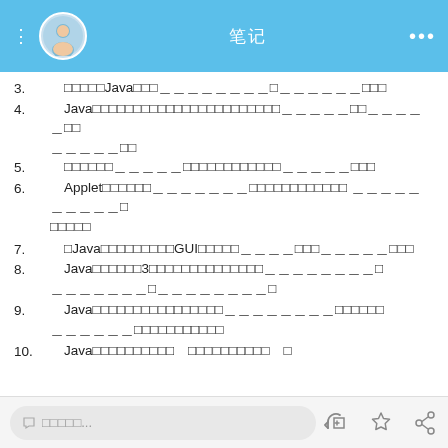笔记
3.　□□□□□Java□□□＿＿＿＿＿＿＿＿□＿＿＿＿＿＿□□□
4.　Java□□□□□□□□□□□□□□□□□□□□□□□＿＿＿＿＿□□＿＿＿＿＿□□＿＿＿＿＿□□
5.　□□□□□□＿＿＿＿＿□□□□□□□□□□□□＿＿＿＿＿□□□
6.　Applet□□□□□□＿＿＿＿＿＿＿□□□□□□□□□□□□ ＿＿＿＿＿＿＿＿＿＿□□□□□□
7.　□Java□□□□□□□□□GUI□□□□□＿＿＿＿＿□□□＿＿＿＿＿□□□
8.　Java□□□□□□3□□□□□□□□□□□□□□＿＿＿＿＿＿＿＿□ ＿＿＿＿＿＿＿＿＿□＿＿＿＿＿＿＿＿＿□
9.　Java□□□□□□□□□□□□□□□□＿＿＿＿＿＿＿＿□□□□□□ ＿＿＿＿＿＿□□□□□□□□□□□
10.　Java□□□□□□□□□□□　□□□□□□□□□□　□